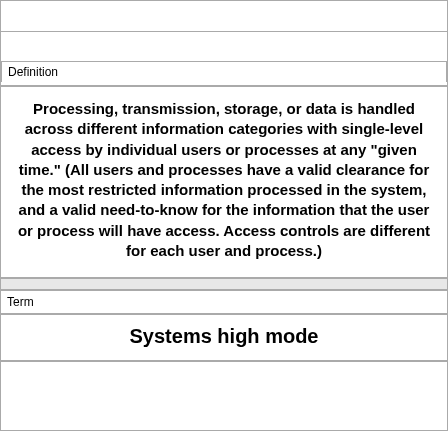|  |
|  |
| Definition |
| Processing, transmission, storage, or data is handled across different information categories with single-level access by individual users or processes at any "given time." (All users and processes have a valid clearance for the most restricted information processed in the system, and a valid need-to-know for the information that the user or process will have access. Access controls are different for each user and process.) |
|  |
| Term |
| Systems high mode |
|  |